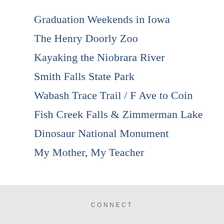Graduation Weekends in Iowa
The Henry Doorly Zoo
Kayaking the Niobrara River
Smith Falls State Park
Wabash Trace Trail / F Ave to Coin
Fish Creek Falls & Zimmerman Lake
Dinosaur National Monument
My Mother, My Teacher
CONNECT